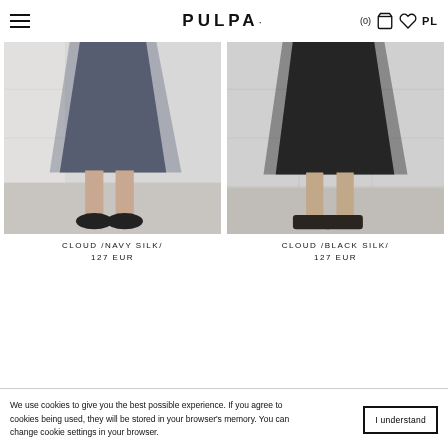PULPA · PL (0)
[Figure (photo): Fashion product photo: lower half of a woman wearing a navy/charcoal sheer silk midi skirt with black sneakers, against a light tiled background]
CLOUD /NAVY SILK/
127 EUR
[Figure (photo): Fashion product photo: lower half of a woman wearing a black sheer silk midi skirt with dark sandals, against a light tiled background]
CLOUD /BLACK SILK/
127 EUR
We use cookies to give you the best possible experience. If you agree to cookies being used, they will be stored in your browser's memory. You can change cookie settings in your browser.
I understand